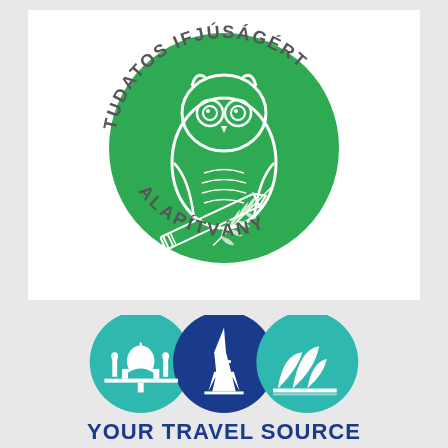[Figure (logo): Tudatos Ifjúságért Alapítvány logo: green circle with white owl holding pencil and feather, text arched around circle reading TUDATOS IFJÚSÁGÉRT ALAPÍTVÁNY]
[Figure (logo): Your Travel Source logo: three overlapping circles (teal, dark blue, teal) with Taj Mahal, Eiffel Tower, and Sydney Opera House icons, text below YOUR TRAVEL SOURCE in dark blue bold]